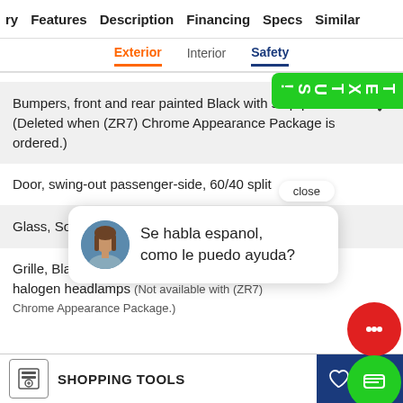ry   Features   Description   Financing   Specs   Similar
Exterior   Interior   Safety
Bumpers, front and rear painted Black with step-pad (Deleted when (ZR7) Chrome Appearance Package is ordered.)
Door, swing-out passenger-side, 60/40 split
Glass, Solar-Ra
Grille, Black co... halogen headlamps (Not available with (ZR7) Chrome Appearance Package.)
[Figure (screenshot): Chat popup overlay with avatar of a woman and message 'Se habla espanol, como le puedo ayuda?' with close button, red chat bubble, green SMS bubble, and green TEXT US! tab on the right side.]
SHOPPING TOOLS